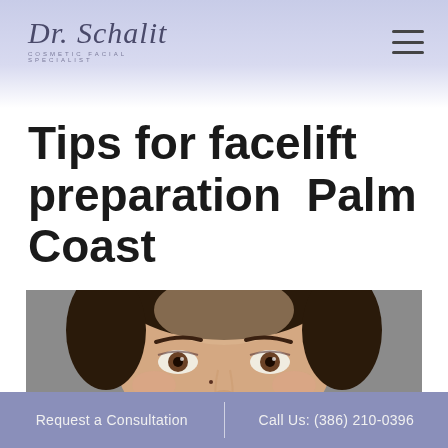Dr. Schalit — COSMETIC FACIAL SPECIALIST
Tips for facelift preparation  Palm Coast
[Figure (photo): Close-up photo of a young woman's face from eyes to chin, against a gray background, showing smooth skin, brown eyes with eye makeup, and dark hair pulled back.]
Request a Consultation  |  Call Us: (386) 210-0396